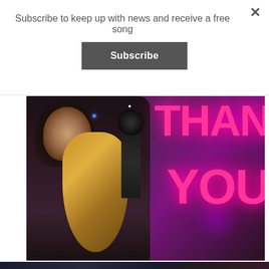Subscribe to keep up with news and receive a free song
Subscribe
[Figure (photo): A woman with dark hair smiling and playing an acoustic guitar in front of a microphone, with a neon pink 'THANK YOU' sign behind her on a purple/dark background.]